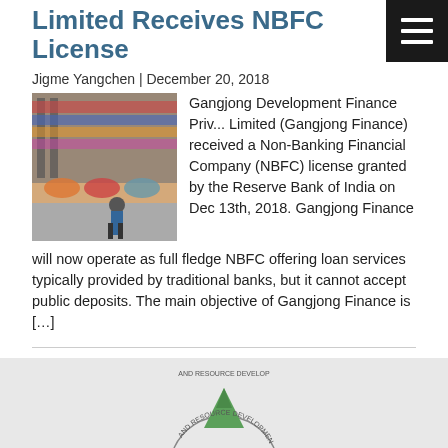Limited Receives NBFC License
Jigme Yangchen | December 20, 2018
[Figure (photo): Photo of a market stall with clothing and goods on display]
Gangjong Development Finance Private Limited (Gangjong Finance) received a Non-Banking Financial Company (NBFC) license granted by the Reserve Bank of India on Dec 13th, 2018. Gangjong Finance will now operate as full fledge NBFC offering loan services typically provided by traditional banks, but it cannot accept public deposits. The main objective of Gangjong Finance is […]
Page 1 of 2
← older
[Figure (logo): Circular logo with text AND RESOURCE DEVELOPMENT and a mountain/tree graphic]